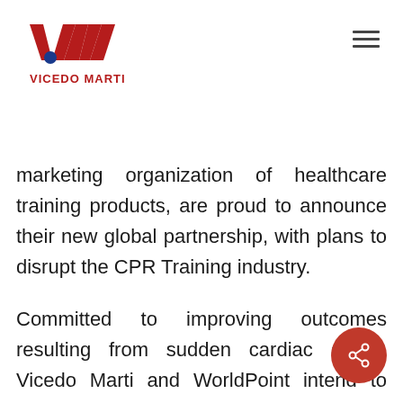[Figure (logo): Vicedo Marti company logo with red stylized VM letters and blue dot, with text VICEDO MARTI below]
marketing organization of healthcare training products, are proud to announce their new global partnership, with plans to disrupt the CPR Training industry.
Committed to improving outcomes resulting from sudden cardiac arrest, Vicedo Marti and WorldPoint intend to develop innovative, affordable, and high-quality CPR training products that meet today's CPR training needs.